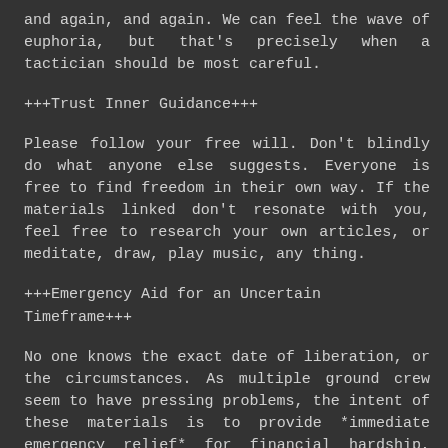and again, and again. We can feel the wave of euphoria, but that's precisely when a tactician should be most careful.
+++Trust Inner Guidance+++
Please follow your free will. Don't blindly do what anyone else suggests. Everyone is free to find freedom in their own way. If the materials linked don't resonate with you, feel free to research your own articles, or meditate, draw, play music, any thing.
+++Emergency Aid for an Uncertain Timeframe+++
No one knows the exact date of liberation, or the circumstances. As multiple ground crew seem to have pressing problems, the intent of these materials is to provide *immediate emergency relief* for financial hardship, water filtration, food, medicine and much more.